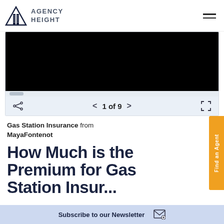Agency Height
[Figure (screenshot): Slideshow widget showing slide 1 of 9 with a black image area, share icon, navigation arrows, and fullscreen icon]
Gas Station Insurance from MayaFontenot
How Much is the Premium for Gas Station Insurance?